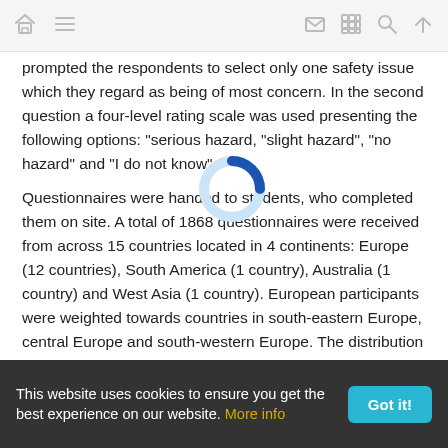Navigation bar with home, menu, mail, grid, search, and up-arrow icons
prompted the respondents to select only one safety issue which they regard as being of most concern. In the second question a four-level rating scale was used presenting the following options: “serious hazard, “slight hazard”, “no hazard” and “I do not know”.
Questionnaires were handed to students, who completed them on site. A total of 1868 questionnaires were received from across 15 countries located in 4 continents: Europe (12 countries), South America (1 country), Australia (1 country) and West Asia (1 country). European participants were weighted towards countries in south-eastern Europe, central Europe and south-western Europe. The distribution of respondents by country of origin is displayed in Fig. 1.
This website uses cookies to ensure you get the best experience on our website. More info  Got it!